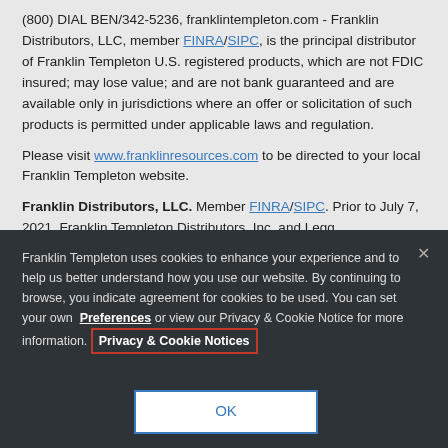(800) DIAL BEN/342-5236, franklintempleton.com - Franklin Distributors, LLC, member FINRA/SIPC, is the principal distributor of Franklin Templeton U.S. registered products, which are not FDIC insured; may lose value; and are not bank guaranteed and are available only in jurisdictions where an offer or solicitation of such products is permitted under applicable laws and regulation.
Please visit www.franklinresources.com to be directed to your local Franklin Templeton website.
Franklin Distributors, LLC. Member FINRA/SIPC. Prior to July 7, 2021, Franklin Templeton Distributors, Inc. and Legg...
Franklin Templeton uses cookies to enhance your experience and to help us better understand how you use our website. By continuing to browse, you indicate agreement for cookies to be used. You can set your own Preferences or view our Privacy & Cookie Notice for more information. Privacy & Cookie Notices